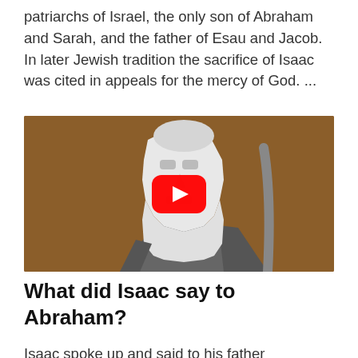patriarchs of Israel, the only son of Abraham and Sarah, and the father of Esau and Jacob. In later Jewish tradition the sacrifice of Isaac was cited in appeals for the mercy of God. ...
[Figure (screenshot): YouTube video thumbnail showing a stylized geometric illustration of an old bearded man (Abraham) on a brown background, with a YouTube play button overlay in the center.]
What did Isaac say to Abraham?
Isaac spoke up and said to his father